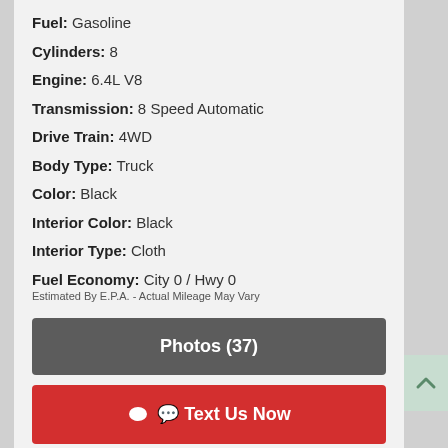Fuel: Gasoline
Cylinders: 8
Engine: 6.4L V8
Transmission: 8 Speed Automatic
Drive Train: 4WD
Body Type: Truck
Color: Black
Interior Color: Black
Interior Type: Cloth
Fuel Economy: City 0 / Hwy 0
Estimated By E.P.A. - Actual Mileage May Vary
Photos (37)
Text Us Now